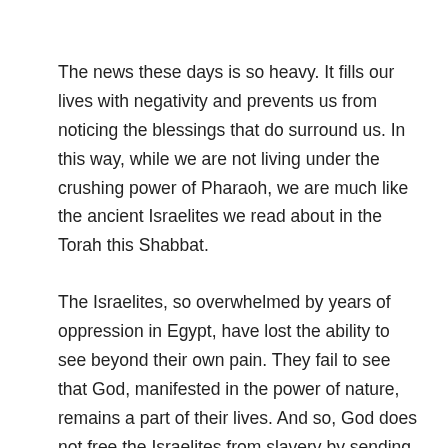The news these days is so heavy. It fills our lives with negativity and prevents us from noticing the blessings that do surround us. In this way, while we are not living under the crushing power of Pharaoh, we are much like the ancient Israelites we read about in the Torah this Shabbat.
The Israelites, so overwhelmed by years of oppression in Egypt, have lost the ability to see beyond their own pain. They fail to see that God, manifested in the power of nature, remains a part of their lives. And so, God does not free the Israelites from slavery by sending just one plague to undermine Pharaoh and his armies. God sends ten plagues, hardening Pharoah's heart whenever a plague weakens the Egyptian leader's resolve to keep the Israelites enslaved. God could have